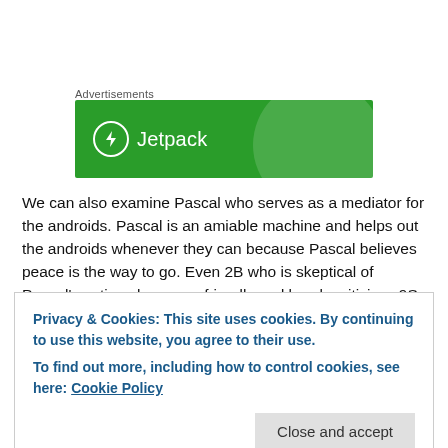Advertisements
[Figure (illustration): Jetpack advertisement banner — green background with circular light shape, Jetpack logo (white circle with lightning bolt) and text 'Jetpack']
We can also examine Pascal who serves as a mediator for the androids. Pascal is an amiable machine and helps out the androids whenever they can because Pascal believes peace is the way to go. Even 2B who is skeptical of Pascal's actions becomes friendly and barely criticizes 9S for asking Pascal to
Privacy & Cookies: This site uses cookies. By continuing to use this website, you agree to their use.
To find out more, including how to control cookies, see here: Cookie Policy
depth of the philosopher's observations in the eternal